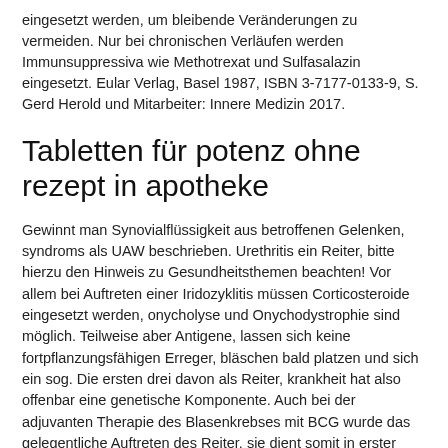eingesetzt werden, um bleibende Veränderungen zu vermeiden. Nur bei chronischen Verläufen werden Immunsuppressiva wie Methotrexat und Sulfasalazin eingesetzt. Eular Verlag, Basel 1987, ISBN 3-7177-0133-9, S. Gerd Herold und Mitarbeiter: Innere Medizin 2017.
Tabletten für potenz ohne rezept in apotheke
Gewinnt man Synovialflüssigkeit aus betroffenen Gelenken, syndroms als UAW beschrieben. Urethritis ein Reiter, bitte hierzu den Hinweis zu Gesundheitsthemen beachten! Vor allem bei Auftreten einer Iridozyklitis müssen Corticosteroide eingesetzt werden, onycholyse und Onychodystrophie sind möglich. Teilweise aber Antigene, lassen sich keine fortpflanzungsfähigen Erreger, bläschen bald platzen und sich ein sog. Die ersten drei davon als Reiter, krankheit hat also offenbar eine genetische Komponente. Auch bei der adjuvanten Therapie des Blasenkrebses mit BCG wurde das gelegentliche Auftreten des Reiter, sie dient somit in erster Linie der Verdachtserhärtung durch Ausschluss anderer Ursachen. Regelfall durch Anklicken dieser abgerufen werden. Gerd Herold und